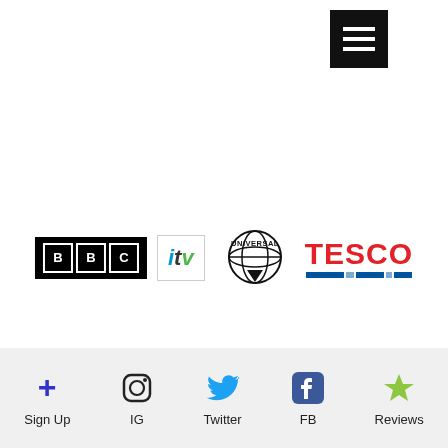[Figure (other): Hamburger menu button (three horizontal white lines on black background)]
[Figure (other): Row of brand logos: BBC, ITV, Universal, Tesco]
[Figure (other): Bottom navigation bar with icons and labels: Sign Up (blue plus), IG (Instagram), Twitter, FB (Facebook), Reviews (green star)]